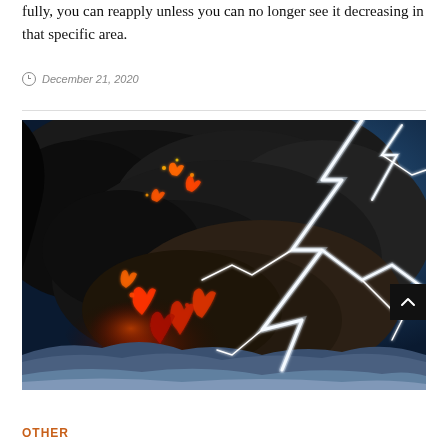fully, you can reapply unless you can no longer see it decreasing in that specific area.
December 21, 2020
[Figure (photo): Dramatic photograph of a volcanic eruption with lightning bolts striking through a massive dark ash cloud. The eruption column is filled with glowing red lava fragments and bright white lightning. Snow-covered terrain visible in the foreground at the base of the eruption. Dark blue sky surrounds the scene.]
OTHER